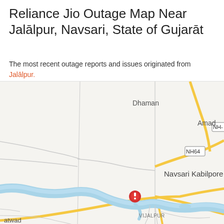Reliance Jio Outage Map Near Jalālpur, Navsari, State of Gujarāt
The most recent outage reports and issues originated from Jalālpur.
[Figure (map): Google Maps style map showing area near Jalālpur, Navsari, State of Gujarāt. Shows roads including NH64 highway, a winding river with light blue color, place names Dhaman, Amad, Navsari Kabilpore, VIJALPUR, and atwad partially visible. A red outage marker icon is placed near Jalālpur/VIJALPUR area.]